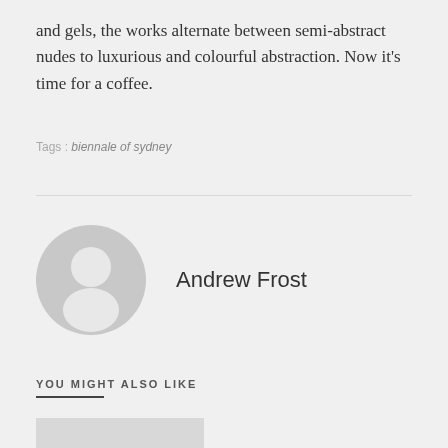and gels, the works alternate between semi-abstract nudes to luxurious and colourful abstraction. Now it's time for a coffee.
Tags: biennale of sydney
Andrew Frost
YOU MIGHT ALSO LIKE